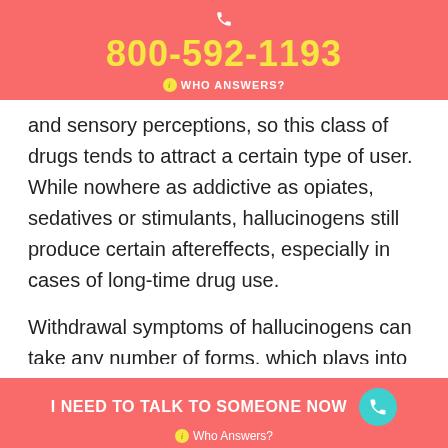800-592-1193 WHO ANSWERS?
and sensory perceptions, so this class of drugs tends to attract a certain type of user. While nowhere as addictive as opiates, sedatives or stimulants, hallucinogens still produce certain aftereffects, especially in cases of long-time drug use.
Withdrawal symptoms of hallucinogens can take any number of forms, which plays into who’s most likely to develop signs of withdrawal. Length of time using also affects the likelihood a person will experience withdrawal symptoms of hallucinogens.
I NEED TO TALK TO SOMEONE NOW Who Answers?